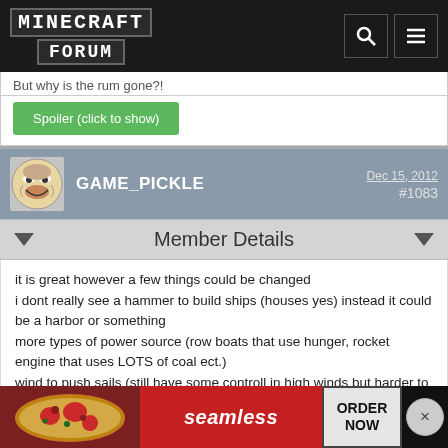MINECRAFT FORUM
But why is the rum gone?!
Spoiler (click to show)
GAME_PICKLE   Dec 15, 2012   #1083
Member Details
it is great however a few things could be changed
i dont really see a hammer to build ships (houses yes) instead it could be a harbor or something
more types of power source (row boats that use hunger, rocket engine that uses LOTS of coal ect.)
wind to push sails (still have some controll in high winds but harder to control
flags
besides...
[Figure (infographic): Seamless food delivery advertisement banner with pizza image, seamless logo, ORDER NOW button, and close (X) button]